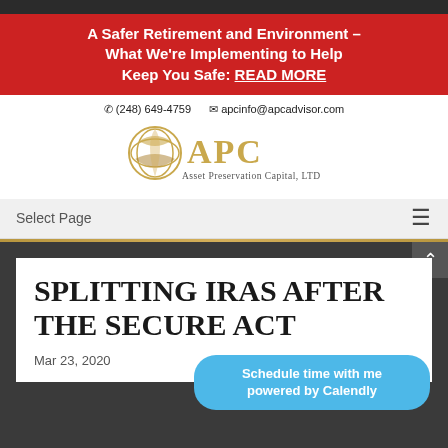A Safer Retirement and Environment – What We're Implementing to Help Keep You Safe: READ MORE
(248) 649-4759   apcinfo@apcadvisor.com
[Figure (logo): APC Asset Preservation Capital, LTD gold logo with circular emblem]
Select Page
SPLITTING IRAS AFTER THE SECURE ACT
Mar 23, 2020
Schedule time with me powered by Calendly